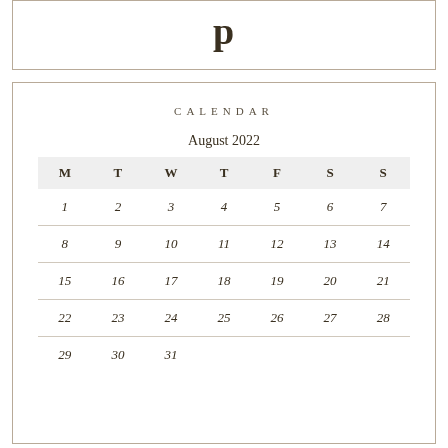[Figure (other): Decorative top box with partial large letter visible at top]
CALENDAR
August 2022
| M | T | W | T | F | S | S |
| --- | --- | --- | --- | --- | --- | --- |
| 1 | 2 | 3 | 4 | 5 | 6 | 7 |
| 8 | 9 | 10 | 11 | 12 | 13 | 14 |
| 15 | 16 | 17 | 18 | 19 | 20 | 21 |
| 22 | 23 | 24 | 25 | 26 | 27 | 28 |
| 29 | 30 | 31 |  |  |  |  |